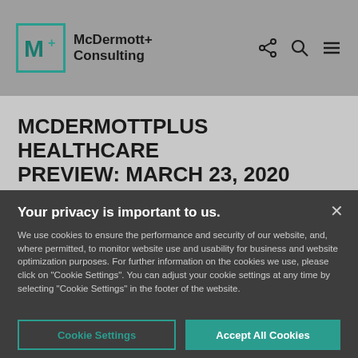McDermott+ Consulting
MCDERMOTTPLUS HEALTHCARE PREVIEW: MARCH 23, 2020
ALL EYES ON SUPPLEMENTAL SPENDING BILL NUMBER THREE.
Your privacy is important to us.
We use cookies to ensure the performance and security of our website, and, where permitted, to monitor website use and usability for business and website optimization purposes. For further information on the cookies we use, please click on "Cookie Settings". You can adjust your cookie settings at any time by selecting "Cookie Settings" in the footer of the website.
Cookie Settings
Accept All Cookies